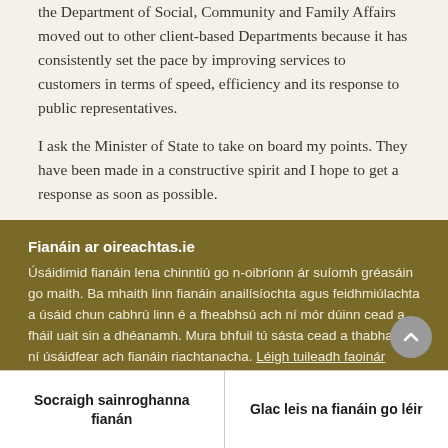the Department of Social, Community and Family Affairs moved out to other client-based Departments because it has consistently set the pace by improving services to customers in terms of speed, efficiency and its response to public representatives.
I ask the Minister of State to take on board my points. They have been made in a constructive spirit and I hope to get a response as soon as possible.
Fianáin ar oireachtas.ie
Úsáidimid fianáin lena chinntiú go n-oibríonn ár suíomh gréasáin go maith. Ba mhaith linn fianáin anailísíochta agus feidhmiúlachta a úsáid chun cabhrú linn é a fheabhsú ach ní mór dúinn cead a fháil uait sin a dhéanamh. Mura bhfuil tú sásta cead a thabhairt, ní úsáidfear ach fianáin riachtanacha. Léigh tuileadh faoinár bhfianáin
Socraigh sainroghanna fianán
Glac leis na fianáin go léir